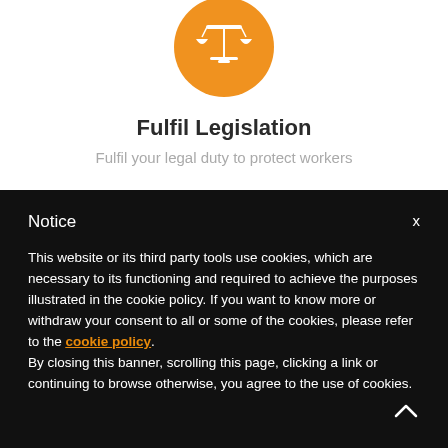[Figure (illustration): Orange circle with white scales of justice icon]
Fulfil Legislation
Fulfil your legal duty to protect workers
Notice
This website or its third party tools use cookies, which are necessary to its functioning and required to achieve the purposes illustrated in the cookie policy. If you want to know more or withdraw your consent to all or some of the cookies, please refer to the cookie policy. By closing this banner, scrolling this page, clicking a link or continuing to browse otherwise, you agree to the use of cookies.